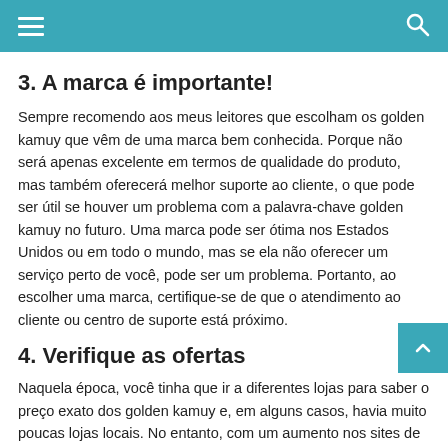≡  🔍
3. A marca é importante!
Sempre recomendo aos meus leitores que escolham os golden kamuy que vêm de uma marca bem conhecida. Porque não será apenas excelente em termos de qualidade do produto, mas também oferecerá melhor suporte ao cliente, o que pode ser útil se houver um problema com a palavra-chave golden kamuy no futuro. Uma marca pode ser ótima nos Estados Unidos ou em todo o mundo, mas se ela não oferecer um serviço perto de você, pode ser um problema. Portanto, ao escolher uma marca, certifique-se de que o atendimento ao cliente ou centro de suporte está próximo.
4. Verifique as ofertas
Naquela época, você tinha que ir a diferentes lojas para saber o preço exato dos golden kamuy e, em alguns casos, havia muito poucas lojas locais. No entanto, com um aumento nos sites de comércio eletrônico como